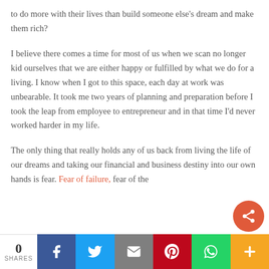to do more with their lives than build someone else's dream and make them rich?
I believe there comes a time for most of us when we scan no longer kid ourselves that we are either happy or fulfilled by what we do for a living. I know when I got to this space, each day at work was unbearable. It took me two years of planning and preparation before I took the leap from employee to entrepreneur and in that time I'd never worked harder in my life.
The only thing that really holds any of us back from living the life of our dreams and taking our financial and business destiny into our own hands is fear. Fear of failure, fear of the
0 SHARES | Facebook | Twitter | Email | Pinterest | WhatsApp | More